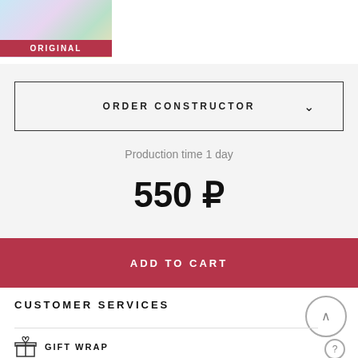[Figure (photo): Colorful art bottles/potions product image thumbnail]
ORIGINAL
ORDER CONSTRUCTOR
Production time 1 day
550 ₽
ADD TO CART
CUSTOMER SERVICES
GIFT WRAP